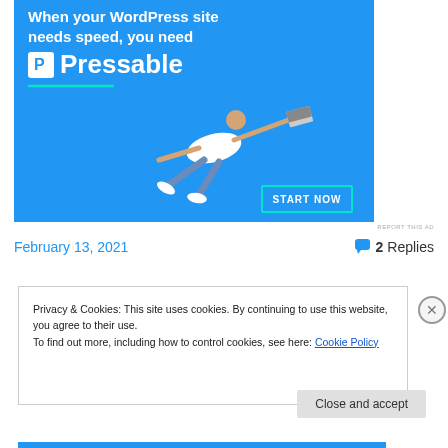[Figure (illustration): Pressable web hosting advertisement banner on blue background. Shows text 'When your WordPress site needs speed, you need Pressable' with a person flying horizontally holding a laptop, a teal underline, and a 'START NOW' button with teal border.]
REPORT THIS AD
February 13, 2021
2 Replies
Privacy & Cookies: This site uses cookies. By continuing to use this website, you agree to their use.
To find out more, including how to control cookies, see here: Cookie Policy
Close and accept